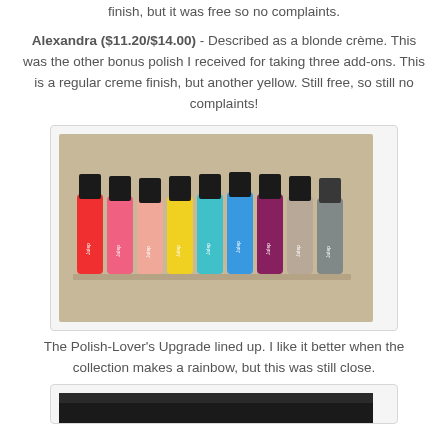finish, but it was free so no complaints.
Alexandra ($11.20/$14.00) - Described as a blonde crème. This was the other bonus polish I received for taking three add-ons. This is a regular creme finish, but another yellow. Still free, so still no complaints!
[Figure (photo): A row of Julep nail polish bottles in various colors: red, pink, peach, yellow, teal, blue, dark purple, taupe/nude, and dark gray/silver, arranged side by side with black caps on top.]
The Polish-Lover's Upgrade lined up. I like it better when the collection makes a rainbow, but this was still close.
[Figure (photo): Partial view of another photo at the bottom of the page, cropped.]